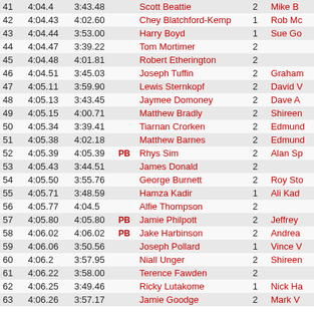| Pos | Time1 | Time2 | PB | Name | Num | Coach |
| --- | --- | --- | --- | --- | --- | --- |
| 41 | 4:04.4 | 3:43.48 |  | Scott Beattie | 2 | Mike B... |
| 42 | 4:04.43 | 4:02.60 |  | Chey Blatchford-Kemp | 1 | Rob Mc... |
| 43 | 4:04.44 | 3:53.00 |  | Harry Boyd | 1 | Sue Go... |
| 44 | 4:04.47 | 3:39.22 |  | Tom Mortimer | 2 |  |
| 45 | 4:04.48 | 4:01.81 |  | Robert Etherington | 2 |  |
| 46 | 4:04.51 | 3:45.03 |  | Joseph Tuffin | 2 | Graham... |
| 47 | 4:05.11 | 3:59.90 |  | Lewis Sternkopf | 2 | David V... |
| 48 | 4:05.13 | 3:43.45 |  | Jaymee Domoney | 2 | Dave A... |
| 49 | 4:05.15 | 4:00.71 |  | Matthew Bradly | 2 | Shireen... |
| 50 | 4:05.34 | 3:39.41 |  | Tiarnan Crorken | 2 | Edmund... |
| 51 | 4:05.38 | 4:02.18 |  | Matthew Barnes | 2 | Edmund... |
| 52 | 4:05.39 | 4:05.39 | PB | Rhys Sim | 2 | Alan Sp... |
| 53 | 4:05.43 | 3:44.51 |  | James Donald | 2 |  |
| 54 | 4:05.50 | 3:55.76 |  | George Burnett | 2 | Roy Sto... |
| 55 | 4:05.71 | 3:48.59 |  | Hamza Kadir | 1 | Ali Kad... |
| 56 | 4:05.77 | 4:04.5 |  | Alfie Thompson | 2 |  |
| 57 | 4:05.80 | 4:05.80 | PB | Jamie Philpott | 2 | Jeffrey... |
| 58 | 4:06.02 | 4:06.02 | PB | Jake Harbinson | 2 | Andrea... |
| 59 | 4:06.06 | 3:50.56 |  | Joseph Pollard | 1 | Vince V... |
| 60 | 4:06.2 | 3:57.95 |  | Niall Unger | 2 | Shireen... |
| 61 | 4:06.22 | 3:58.00 |  | Terence Fawden | 2 |  |
| 62 | 4:06.25 | 3:49.46 |  | Ricky Lutakome | 1 | Nick Ha... |
| 63 | 4:06.26 | 3:57.17 |  | Jamie Goodge | 2 | Mark V... |